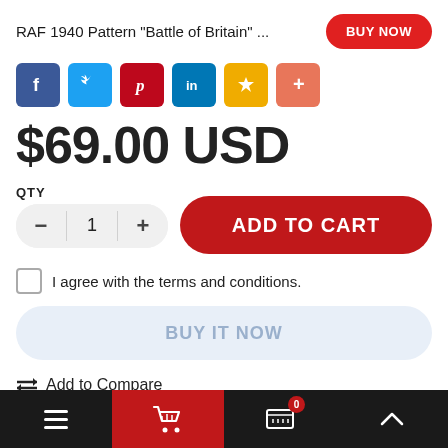RAF 1940 Pattern "Battle of Britain" ...
[Figure (other): Social share buttons: Facebook, Twitter, Pinterest, LinkedIn, Star/Bookmark, Plus]
$69.00 USD
QTY
[Figure (other): Quantity selector with minus, 1, plus buttons and ADD TO CART button]
I agree with the terms and conditions.
BUY IT NOW
⇌ Add to Compare
Navigation bar with menu, cart, basket (0), and up arrow